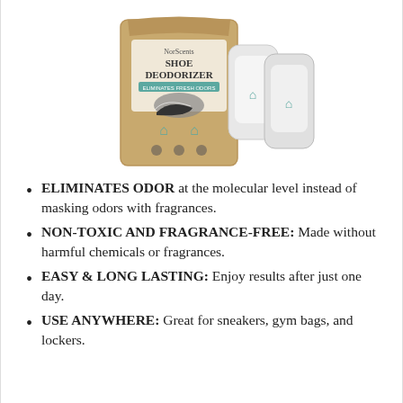[Figure (photo): Product photo of NorScents Shoe Deodorizer showing a kraft paper bag packaging and two white fabric deodorizer pouches with teal house logo icons]
ELIMINATES ODOR at the molecular level instead of masking odors with fragrances.
NON-TOXIC AND FRAGRANCE-FREE: Made without harmful chemicals or fragrances.
EASY & LONG LASTING: Enjoy results after just one day.
USE ANYWHERE: Great for sneakers, gym bags, and lockers.